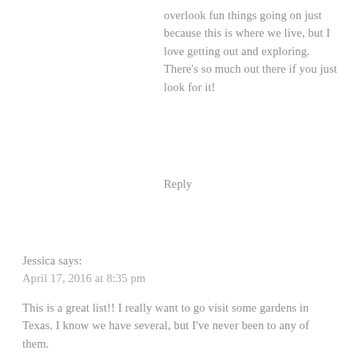overlook fun things going on just because this is where we live, but I love getting out and exploring. There's so much out there if you just look for it!
Reply
Jessica says:
April 17, 2016 at 8:35 pm
This is a great list!! I really want to go visit some gardens in Texas. I know we have several, but I've never been to any of them.